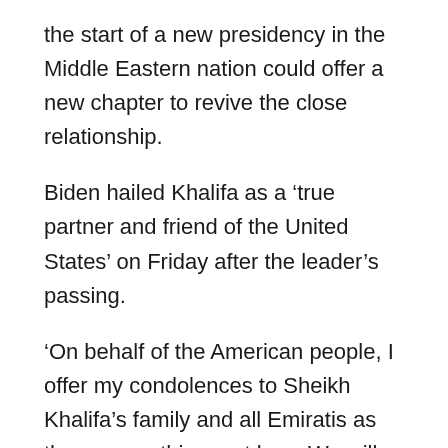the start of a new presidency in the Middle Eastern nation could offer a new chapter to revive the close relationship.
Biden hailed Khalifa as a ‘true partner and friend of the United States’ on Friday after the leader’s passing.
‘On behalf of the American people, I offer my condolences to Sheikh Khalifa’s family and all Emiratis as they mourn this great loss. We will honor his memory by continuing to strengthen the longstanding ties between the governments and people of the United States and the United Arab Emirates,’ the US president said.